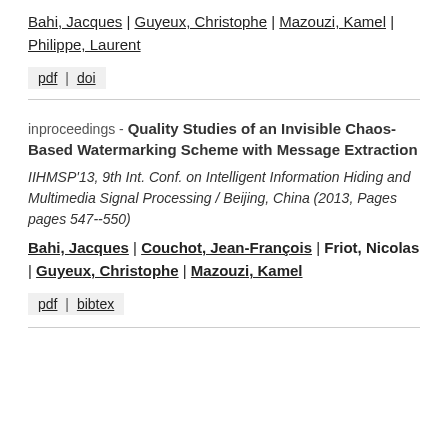Bahi, Jacques | Guyeux, Christophe | Mazouzi, Kamel | Philippe, Laurent
pdf | doi
inproceedings - Quality Studies of an Invisible Chaos-Based Watermarking Scheme with Message Extraction
IIHMSP'13, 9th Int. Conf. on Intelligent Information Hiding and Multimedia Signal Processing / Beijing, China (2013, Pages pages 547--550)
Bahi, Jacques | Couchot, Jean-François | Friot, Nicolas | Guyeux, Christophe | Mazouzi, Kamel
pdf | bibtex